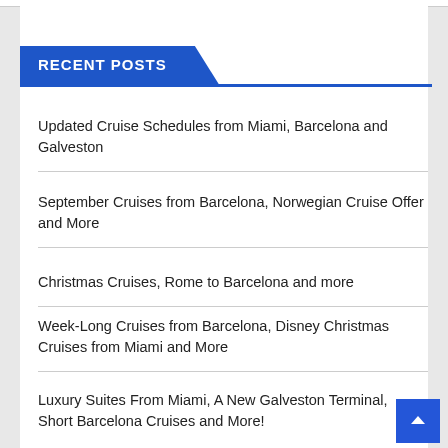RECENT POSTS
Updated Cruise Schedules from Miami, Barcelona and Galveston
September Cruises from Barcelona, Norwegian Cruise Offer and More
Christmas Cruises, Rome to Barcelona and more
Week-Long Cruises from Barcelona, Disney Christmas Cruises from Miami and More
Luxury Suites From Miami, A New Galveston Terminal, Short Barcelona Cruises and More!